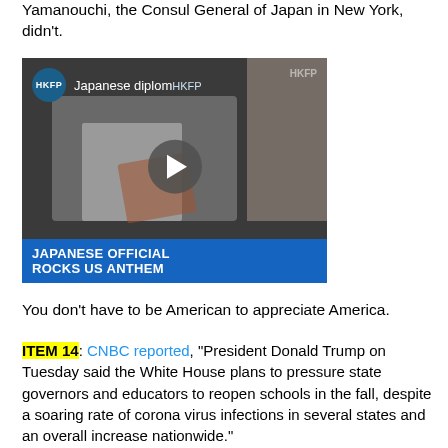Yamanouchi, the Consul General of Japan in New York, didn't.
[Figure (screenshot): Video thumbnail showing a Japanese diplomat playing guitar on stage. HKFP logo visible top-left with text 'Japanese diplom...' and 'HKFP' watermark. Lower bar reads 'JAPANESE OFFICIAL ROCKS US ANTHEM'. Play button in center.]
You don't have to be American to appreciate America.
ITEM 14: CNBC reported, "President Donald Trump on Tuesday said the White House plans to pressure state governors and educators to reopen schools in the fall, despite a soaring rate of corona virus infections in several states and an overall increase nationwide."